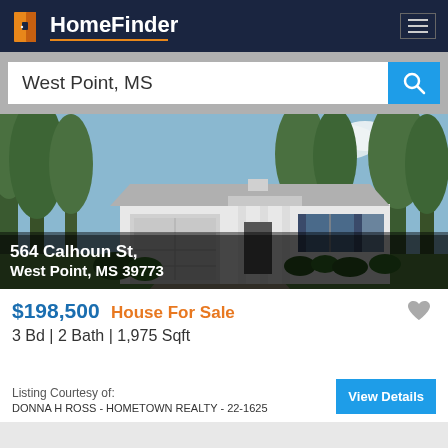HomeFinder
West Point, MS
[Figure (photo): Exterior photo of a white single-story ranch house with a two-car garage, green lawn, and trees in background. Address overlay: 564 Calhoun St, West Point, MS 39773]
$198,500 House For Sale
3 Bd | 2 Bath | 1,975 Sqft
Listing Courtesy of:
DONNA H ROSS - HOMETOWN REALTY - 22-1625
View Details